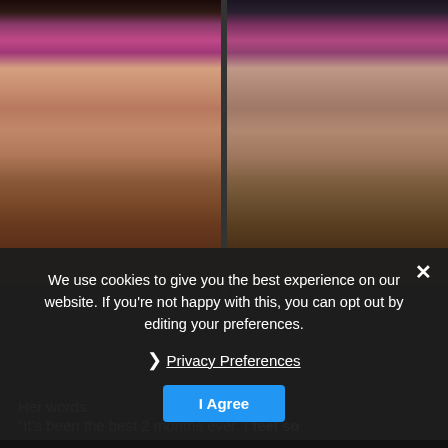[Figure (photo): Before and after side-by-side mirror selfie photos showing body transformation. Left photo shows a person in pink/magenta sports bra and black underwear. Right photo shows the same person after transformation in the same style of outfit, appearing slimmer.]
We use cookies to give you the best experience on our website. If you're not happy with this, you can opt out by editing your preferences.
Privacy Preferences
I Agree
Her words:
"It's been the best 2 months ever. I feel so